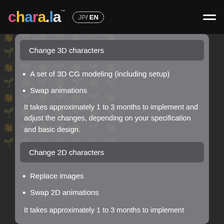chara.la JP/ EN
Change 3D characters
A set of 3D CG modeling (including setup)
Swap animations
It takes approximately 1 to 3 months to implement and adjust the changes, depending on your specification and basic design.
Change 2D characters
Replace images
Swap 2D animations
It takes approximately 1 to 3 months to implement